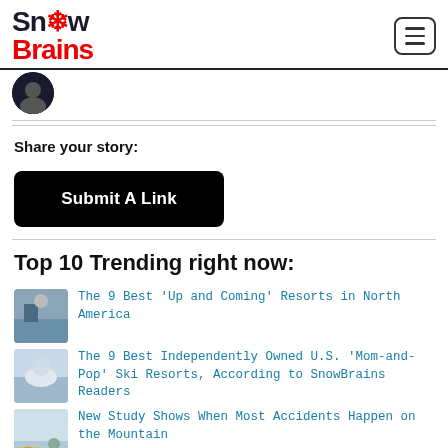SnowBrains
[Figure (logo): SnowBrains logo with snowflake in 'o']
Share your story:
Submit A Link
Top 10 Trending right now:
The 9 Best 'Up and Coming' Resorts in North America
The 9 Best Independently Owned U.S. 'Mom-and-Pop' Ski Resorts, According to SnowBrains Readers
New Study Shows When Most Accidents Happen on the Mountain